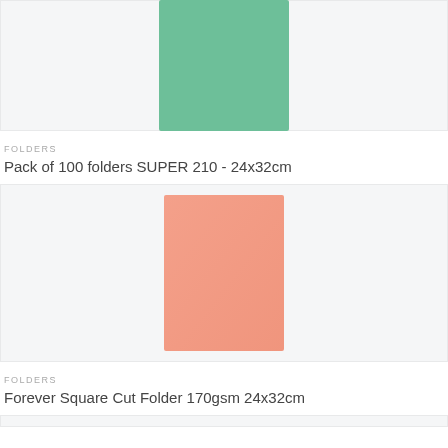[Figure (photo): Green folder product image on light grey background]
FOLDERS
Pack of 100 folders SUPER 210 - 24x32cm
[Figure (photo): Salmon/pink folder product image on light grey background]
FOLDERS
Forever Square Cut Folder 170gsm 24x32cm